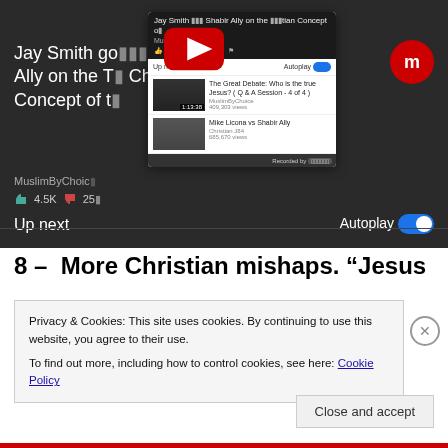[Figure (screenshot): Screenshot of a YouTube page showing 'Jay Smith goes against Dr.Shabir Ally on the True Christian Concept of...' video by MuslimByChoice with 4.5K likes and 25x dislikes. A popup overlay card shows an autoplay panel with 'Up next' videos including 'The Great Debate: Who is the true Jesus? (Q&A Session - 4 of 4)' by MuslimByChoice and 'Mike Licona vs Shabir Ally' by Christian J84. A YouTube play button is overlaid on the popup card. A red circle watermark with 'm' is in the top right.]
8 –  More Christian mishaps. “Jesus
Privacy & Cookies: This site uses cookies. By continuing to use this website, you agree to their use.
To find out more, including how to control cookies, see here: Cookie Policy
Close and accept